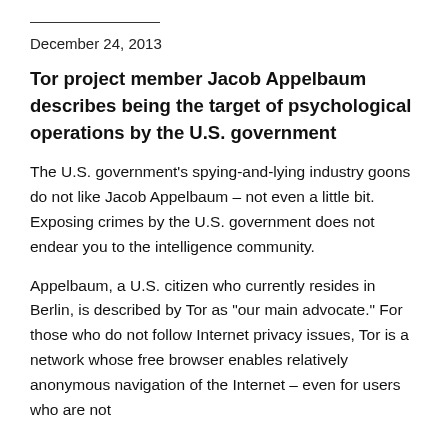_______________
December 24, 2013
Tor project member Jacob Appelbaum describes being the target of psychological operations by the U.S. government
The U.S. government’s spying-and-lying industry goons do not like Jacob Appelbaum – not even a little bit. Exposing crimes by the U.S. government does not endear you to the intelligence community.
Appelbaum, a U.S. citizen who currently resides in Berlin, is described by Tor as “our main advocate.” For those who do not follow Internet privacy issues, Tor is a network whose free browser enables relatively anonymous navigation of the Internet – even for users who are not